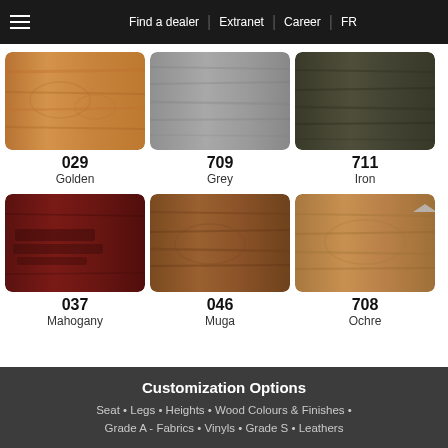Find a dealer | Extranet | Career | FR
[Figure (illustration): Wood finish swatch 029 Golden - warm golden-brown maple wood texture]
029
Golden
[Figure (illustration): Wood finish swatch 709 Grey - cool grey wood texture]
709
Grey
[Figure (illustration): Wood finish swatch 711 Iron - dark olive-grey wood texture]
711
Iron
[Figure (illustration): Wood finish swatch 037 Mahogany - deep red-brown mahogany wood texture]
037
Mahogany
[Figure (illustration): Wood finish swatch 046 Muga - medium warm brown wood texture]
046
Muga
[Figure (illustration): Wood finish swatch 708 Ochre - warm tan-ochre wood texture with triangle scroll indicator]
708
Ochre
Customization Options
Seat • Legs • Heights • Wood Colours & Finishes • Grade A - Fabrics • Vinyls • Grade S • Leathers